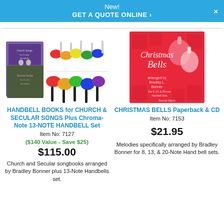New!
GET A QUOTE ONLINE ›
[Figure (photo): Handbell books for church and secular songs plus colorful Chroma-Note 13-note handbell set on a shelf]
HANDBELL BOOKS for CHURCH & SECULAR SONGS Plus Chroma-Note 13-NOTE HANDBELL Set
Item No: 7127
($140 Value - Save $25)
$115.00
Church and Secular songbooks arranged by Bradley Bonner plus 13-Note Handbells set.
[Figure (photo): Christmas Bells Paperback & CD book cover on red background]
CHRISTMAS BELLS Paperback & CD
Item No: 7153
$21.95
Melodies specifically arranged by Bradley Bonner for 8, 13, & 20-Note Hand bell sets.